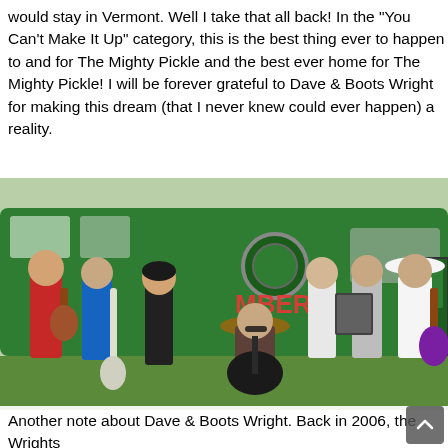would stay in Vermont. Well I take that all back! In the "You Can't Make It Up" category, this is the best thing ever to happen to and for The Mighty Pickle and the best ever home for The Mighty Pickle! I will be forever grateful to Dave & Boots Wright for making this dream (that I never knew could ever happen) a reality.
[Figure (photo): Group photo of musicians with instruments posing in front of a large green bus/coach with text 'MBERS' visible on the side. About 8-9 people including guitar players, accordion player, standing on grass.]
Another note about Dave & Boots Wright. Back in 2006, the Wrights